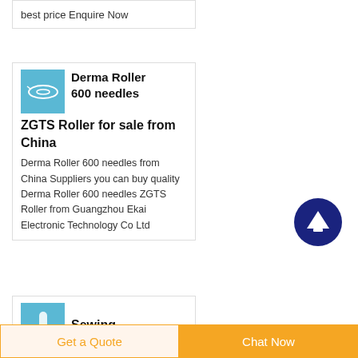best price Enquire Now
Derma Roller 600 needles ZGTS Roller for sale from China
Derma Roller 600 needles from China Suppliers you can buy quality Derma Roller 600 needles ZGTS Roller from Guangzhou Ekai Electronic Technology Co Ltd
Sewing
Get a Quote
Chat Now